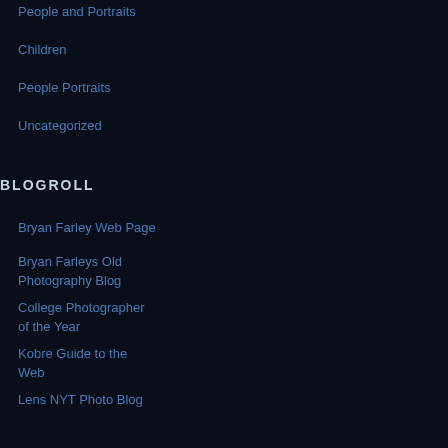People and Portraits
Children
People Portraits
Uncategorized
BLOGROLL
Bryan Farley Web Page
Bryan Farleys Old Photography Blog
College Photographer of the Year
Kobre Guide to the Web
Lens NYT Photo Blog
Media Storm
NPR Picture Show
Sports Related Photographer Site
Trauma Reporting Resource
Women's Flat Track Roller Derby Photos